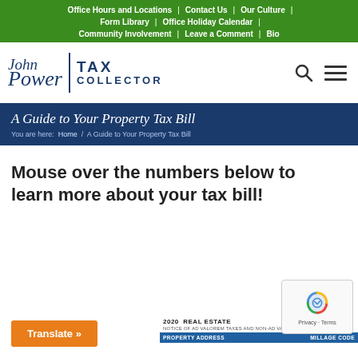Office Hours and Locations | Contact Us | Our Culture | Form Library | Office Holiday Calendar | Community Involvement | Leave a Comment | Bio
[Figure (logo): John Power Tax Collector logo with cursive signature and bold uppercase text]
A Guide to Your Property Tax Bill
You are here:  Home  /  A Guide to Your Property Tax Bill
Mouse over the numbers below to learn more about your tax bill!
[Figure (screenshot): Partial view of a 2020 Real Estate property tax bill showing Notice of Ad Valorem Taxes and Non-Ad Valorem Assessments]
Translate »